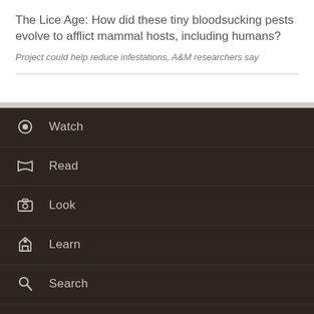The Lice Age: How did these tiny bloodsucking pests evolve to afflict mammal hosts, including humans?
Project could help reduce infestations, A&M researchers say
Watch
Read
Look
Learn
Search
Tags
Accountability
Colleges and Schools